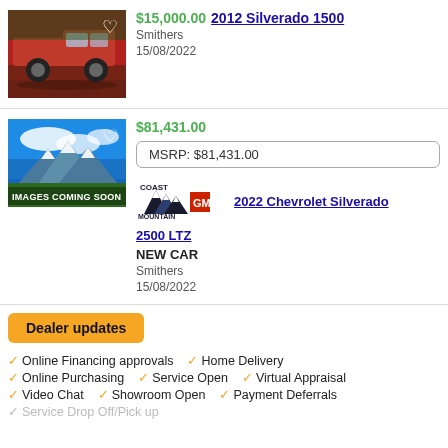[Figure (photo): Red pickup truck (2012 Silverado 1500) thumbnail with a heart icon overlay]
$15,000.00 2012 Silverado 1500
Smithers
15/08/2022
[Figure (photo): Images Coming Soon placeholder with mountain scene thumbnail and heart icon overlay]
$81,431.00
MSRP: $81,431.00
2022 Chevrolet Silverado 2500 LTZ
NEW CAR
Smithers
15/08/2022
[Figure (logo): Coast Mountain GM dealer logo]
Dealer updates
✓ Online Financing approvals  ✓ Home Delivery
✓ Online Purchasing  ✓ Service Open  ✓ Virtual Appraisal
✓ Video Chat  ✓ Showroom Open  ✓ Payment Deferrals
✓ Service Drop Off/Pick up